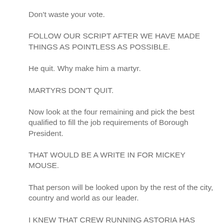Don't waste your vote.
FOLLOW OUR SCRIPT AFTER WE HAVE MADE THINGS AS POINTLESS AS POSSIBLE.
He quit. Why make him a martyr.
MARTYRS DON'T QUIT.
Now look at the four remaining and pick the best qualified to fill the job requirements of Borough President.
THAT WOULD BE A WRITE IN FOR MICKEY MOUSE.
That person will be looked upon by the rest of the city, country and world as our leader.
I KNEW THAT CREW RUNNING ASTORIA HAS BEEN OUT IN THE SUN TOO LONG. WELL IT IS A ONE PARTY/ONE FAMILY STATE JUST LIKE NORTH KOREA.